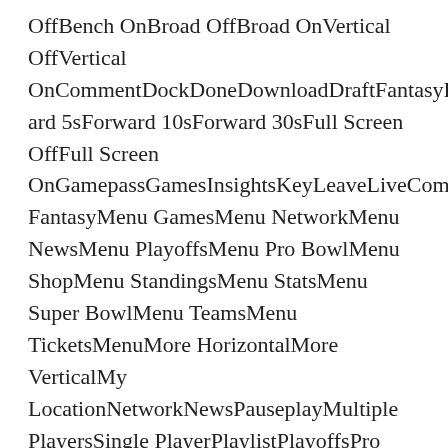OffBench OnBroad OffBroad OnVertical OffVertical OnCommentDockDoneDownloadDraftFantasyFilterForward 5sForward 10sForward 30sFull Screen OffFull Screen OnGamepassGamesInsightsKeyLeaveLiveCombineDraft FantasyMenu GamesMenu NetworkMenu NewsMenu PlayoffsMenu Pro BowlMenu ShopMenu StandingsMenu StatsMenu Super BowlMenu TeamsMenu TicketsMenuMore HorizontalMore VerticalMy LocationNetworkNewsPauseplayMultiple PlayersSingle PlayerPlaylistPlayoffsPro BowlPurgeRefreshRemoveReplaySearchSettingsShare AndroidShare Copy URLShare EmailShare FacebookShare InstagramShare iOSShare SnapchatShare TwitterSkip NextSkip
Previous Standing StarStats Score Teams Tickets Video Visi...